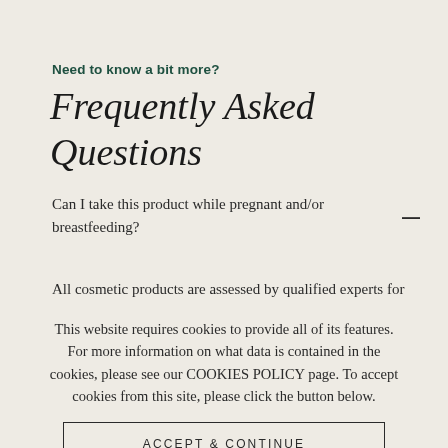Need to know a bit more?
Frequently Asked Questions
Can I take this product while pregnant and/or breastfeeding?
All cosmetic products are assessed by qualified experts for safety before they are allowed on the market. Unsafe products would not reach the market
This website requires cookies to provide all of its features. For more information on what data is contained in the cookies, please see our COOKIES POLICY page. To accept cookies from this site, please click the button below.
ACCEPT & CONTINUE